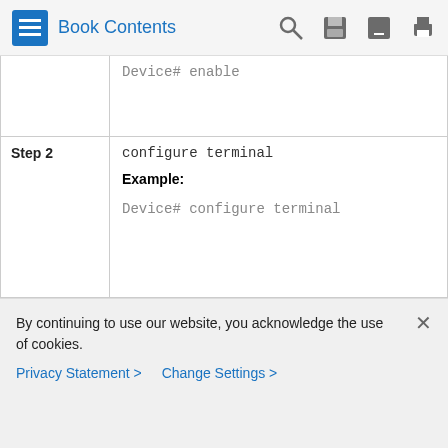Book Contents
|  | Device#  enable |
| Step 2 | configure terminal
Example:
Device# configure terminal |
By continuing to use our website, you acknowledge the use of cookies.
Privacy Statement >  Change Settings >